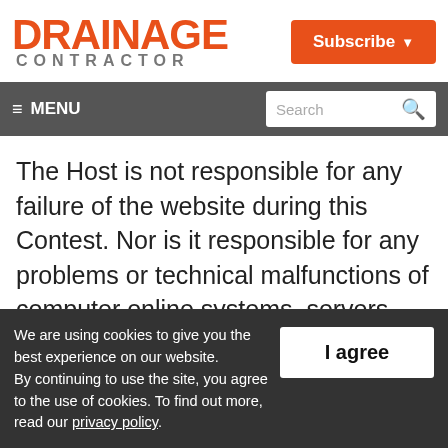[Figure (logo): Drainage Contractor logo with orange text 'DRAINAGE' and grey 'CONTRACTOR' below]
[Figure (other): Orange 'Subscribe' button with dropdown arrow]
≡ MENU   Search 🔍
The Host is not responsible for any failure of the website during this Contest. Nor is it responsible for any problems or technical malfunctions of computer online systems, servers, access providers, computer equipment, software or any e-mail, online or
We are using cookies to give you the best experience on our website.
By continuing to use the site, you agree to the use of cookies. To find out more, read our privacy policy.